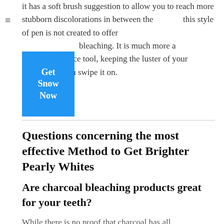it has a soft brush suggestion to allow you to reach more stubborn discolorations in between the teeth. this style of pen is not created to offer bleaching. It is much more a maintenance tool, keeping the luster of your smile when you swipe it on.
[Figure (other): Blue button with text 'Get Snow Now']
Questions concerning the most effective Method to Get Brighter Pearly Whites
Are charcoal bleaching products great for your teeth?
While there is no proof that charcoal has all